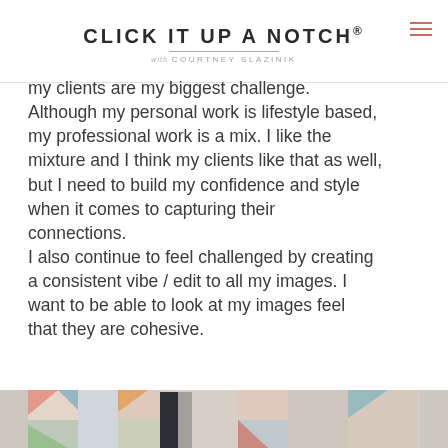CLICK IT UP A NOTCH ® with COURTNEY SLAZINIK
my clients are my biggest challenge. Although my personal work is lifestyle based, my professional work is a mix. I like the mixture and I think my clients like that as well, but I need to build my confidence and style when it comes to capturing their connections. I also continue to feel challenged by creating a consistent vibe / edit to all my images. I want to be able to look at my images feel that they are cohesive.
[Figure (photo): Bottom strip showing a partial photo of a person standing on a colorful patchwork quilt, wearing dark clothing]